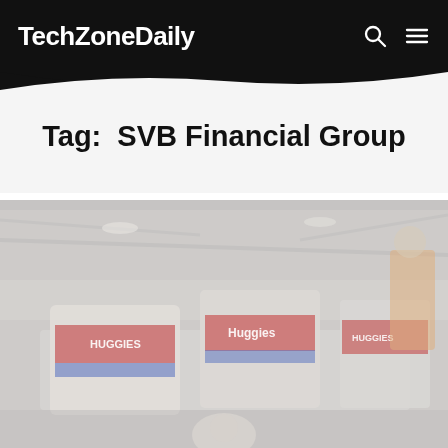TechZoneDaily
Tag:  SVB Financial Group
[Figure (photo): Warehouse scene showing Huggies diaper boxes on a conveyor belt with a worker in an orange vest in the background. The image is slightly washed out/overexposed.]